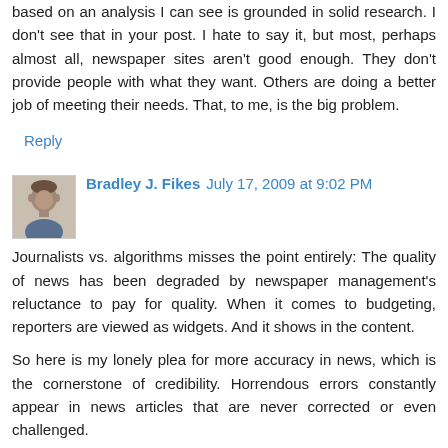based on an analysis I can see is grounded in solid research. I don't see that in your post. I hate to say it, but most, perhaps almost all, newspaper sites aren't good enough. They don't provide people with what they want. Others are doing a better job of meeting their needs. That, to me, is the big problem.
Reply
Bradley J. Fikes  July 17, 2009 at 9:02 PM
Journalists vs. algorithms misses the point entirely: The quality of news has been degraded by newspaper management's reluctance to pay for quality. When it comes to budgeting, reporters are viewed as widgets. And it shows in the content.
So here is my lonely plea for more accuracy in news, which is the cornerstone of credibility. Horrendous errors constantly appear in news articles that are never corrected or even challenged.
Here's an example that's particularly shocking to me as a